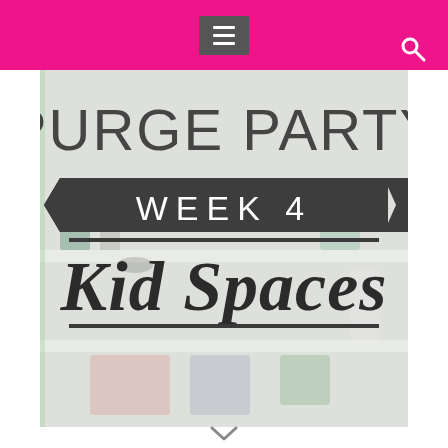Navigation bar with hamburger menu and search icon
[Figure (illustration): Blog post featured image for 'Purge Party Week 4 Kid Spaces' showing a children's room/shelf with decorative objects, overlaid with large typography: 'PURGE PARTY' in light sans-serif, a dark banner ribbon with 'WEEK 4', and 'Kid Spaces' in bold italic serif.]